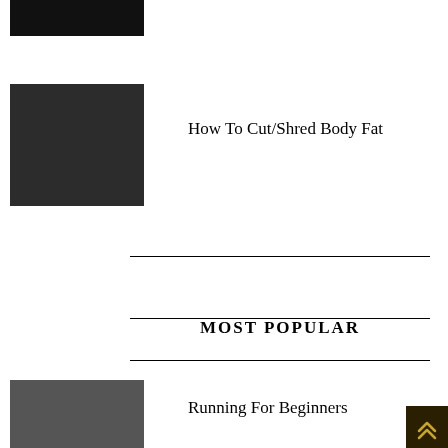[Figure (photo): Partially visible thumbnail image at top left, dark/black with some color visible]
[Figure (photo): Thumbnail of a muscular man shirtless against a dark background]
How To Cut/Shred Body Fat
MOST POPULAR
[Figure (photo): Dark gray square thumbnail image]
Running For Beginners